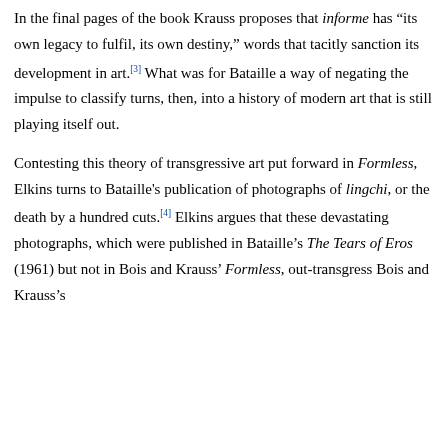In the final pages of the book Krauss proposes that informe has "its own legacy to fulfil, its own destiny," words that tacitly sanction its development in art.[3] What was for Bataille a way of negating the impulse to classify turns, then, into a history of modern art that is still playing itself out.
Contesting this theory of transgressive art put forward in Formless, Elkins turns to Bataille's publication of photographs of lingchi, or the death by a hundred cuts.[4] Elkins argues that these devastating photographs, which were published in Bataille's The Tears of Eros (1961) but not in Bois and Krauss' Formless, out-transgress Bois and Krauss's